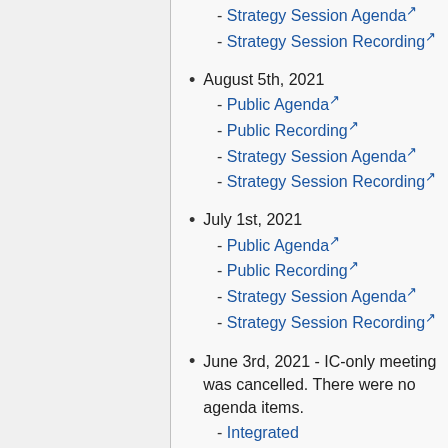- Strategy Session Agenda [link]
- Strategy Session Recording [link]
August 5th, 2021
- Public Agenda [link]
- Public Recording [link]
- Strategy Session Agenda [link]
- Strategy Session Recording [link]
July 1st, 2021
- Public Agenda [link]
- Public Recording [link]
- Strategy Session Agenda [link]
- Strategy Session Recording [link]
June 3rd, 2021 - IC-only meeting was cancelled. There were no agenda items.
- Integrated Solutions/Marketplace Presentation (Steve Helvie) [link]
- Public Agenda [link]